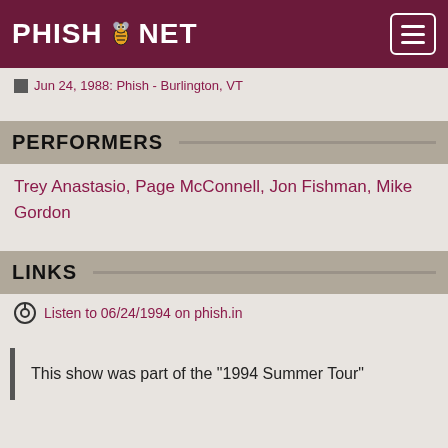PHISH.NET
Jun 24, 1988: Phish - Burlington, VT
PERFORMERS
Trey Anastasio, Page McConnell, Jon Fishman, Mike Gordon
LINKS
Listen to 06/24/1994 on phish.in
This show was part of the "1994 Summer Tour"